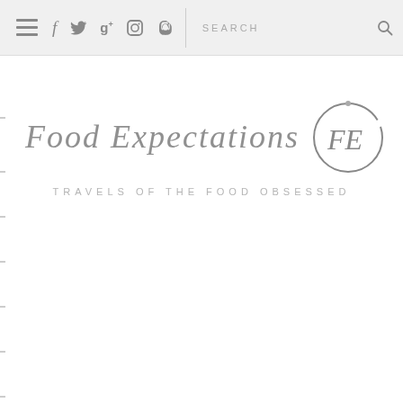Navigation bar with hamburger menu, social icons (f, twitter, g+, instagram, pinterest), search bar
[Figure (logo): Food Expectations logo with cursive/handwritten text 'Food Expectations' and circular FE badge icon]
Food Expectations
TRAVELS OF THE FOOD OBSESSED